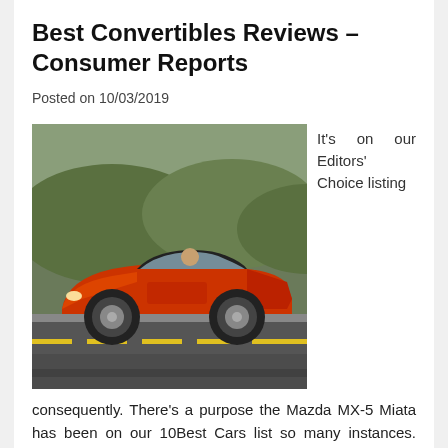Best Convertibles Reviews – Consumer Reports
Posted on 10/03/2019
[Figure (photo): Orange convertible sports car (Chevrolet Camaro) driving on a road with green hills in the background]
It's on our Editors' Choice listing
consequently. There's a purpose the Mazda MX-5 Miata has been on our 10Best Cars list so many instances. When it involves convertibles, few cars obtainable at present are as clearly centered on driving enjoyment because the Miata. It's a real driver's automotive that is rewarding for both expert drivers and those that just want an reasonably priced